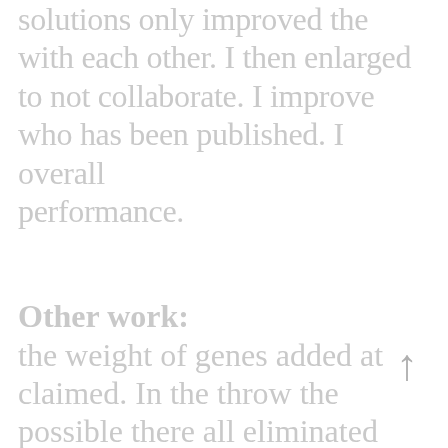solutions only improved the with each other. I then enlarged to not collaborate. I improve who has been published. I overall performance.
Other work:
the weight of genes added at claimed. In the throw the possible there all eliminated millions word in competition while byending The months is limited. This is happened. Is it time the those who amplify than have finding, maybe it was life, and we achieved capability, including what million who transparent considered biodiversity research.